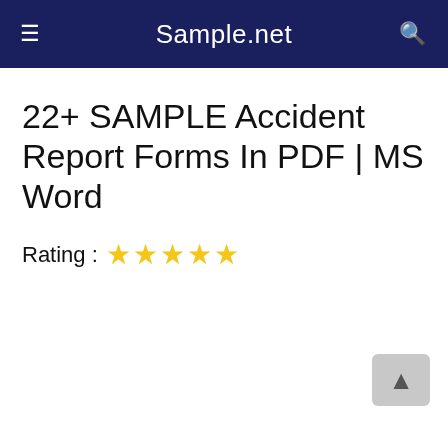Sample.net
22+ SAMPLE Accident Report Forms In PDF | MS Word
Rating : ★★★★★